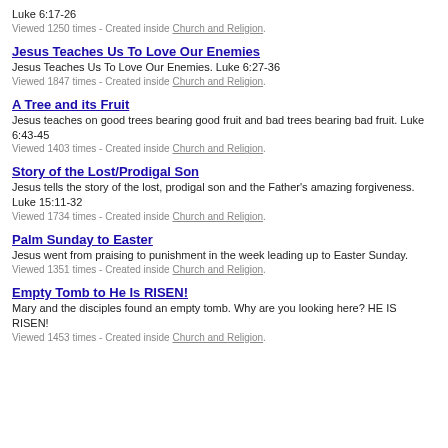Luke 6:17-26
Viewed 1250 times - Created inside Church and Religion.
Jesus Teaches Us To Love Our Enemies
Jesus Teaches Us To Love Our Enemies. Luke 6:27-36
Viewed 1847 times - Created inside Church and Religion.
A Tree and its Fruit
Jesus teaches on good trees bearing good fruit and bad trees bearing bad fruit. Luke 6:43-45
Viewed 1403 times - Created inside Church and Religion.
Story of the Lost/Prodigal Son
Jesus tells the story of the lost, prodigal son and the Father's amazing forgiveness. Luke 15:11-32
Viewed 1734 times - Created inside Church and Religion.
Palm Sunday to Easter
Jesus went from praising to punishment in the week leading up to Easter Sunday.
Viewed 1351 times - Created inside Church and Religion.
Empty Tomb to He Is RISEN!
Mary and the disciples found an empty tomb. Why are you looking here? HE IS RISEN!
Viewed 1453 times - Created inside Church and Religion.